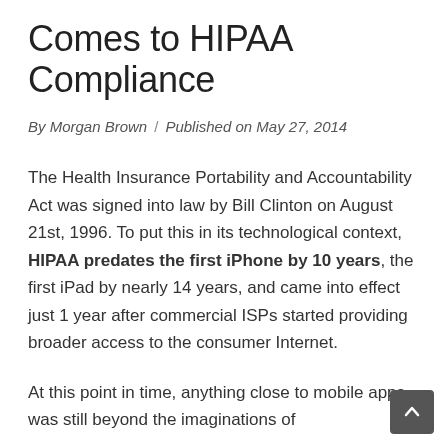Comes to HIPAA Compliance
By Morgan Brown  /  Published on May 27, 2014
The Health Insurance Portability and Accountability Act was signed into law by Bill Clinton on August 21st, 1996. To put this in its technological context, HIPAA predates the first iPhone by 10 years, the first iPad by nearly 14 years, and came into effect just 1 year after commercial ISPs started providing broader access to the consumer Internet.
At this point in time, anything close to mobile apps was still beyond the imaginations of